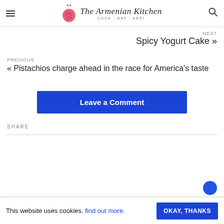The Armenian Kitchen — COOK · EAT · KEFI
NEXT
Spicy Yogurt Cake »
PREVIOUS
« Pistachios charge ahead in the race for America's taste
Leave a Comment
SHARE
This website uses cookies. find out more. OKAY, THANKS